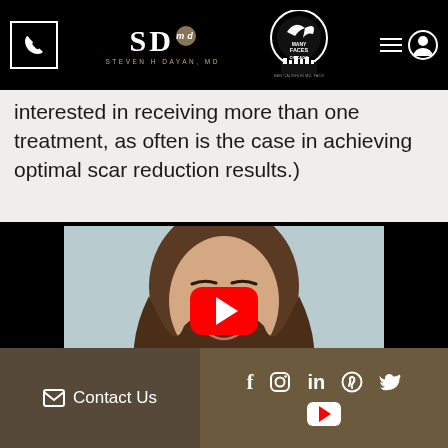Steven H Dayan, MD | Many Faces Chicago
interested in receiving more than one treatment, as often is the case in achieving optimal scar reduction results.)
[Figure (screenshot): YouTube video thumbnail showing a young woman with brown curly hair, with a red YouTube play button overlay, set against a black background.]
Contact Us | Social media icons: Facebook, Instagram, LinkedIn, Pinterest, Twitter, YouTube